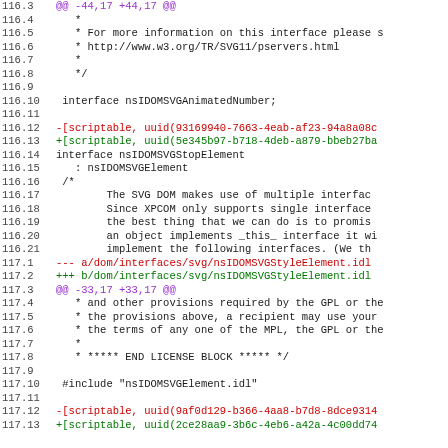[Figure (screenshot): Code diff view showing source code changes in IDL interface files for nsIDOMSVGAnimatedNumber and nsIDOMSVGStopElement, with line numbers on left and colored diff output (red for removed lines, green for added lines, purple for diff headers)]